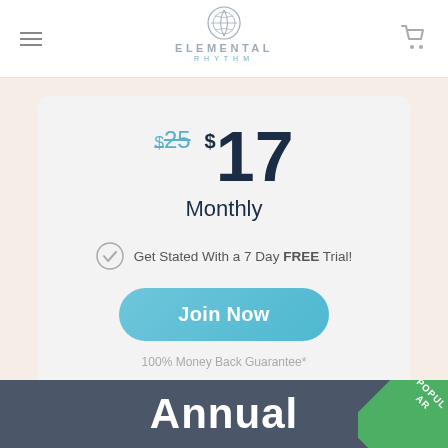ELEMENTAL RHYTHM
$25 $17 Monthly
Get Stated With a 7 Day FREE Trial!
Join Now
100% Money Back Guarantee*
Annual